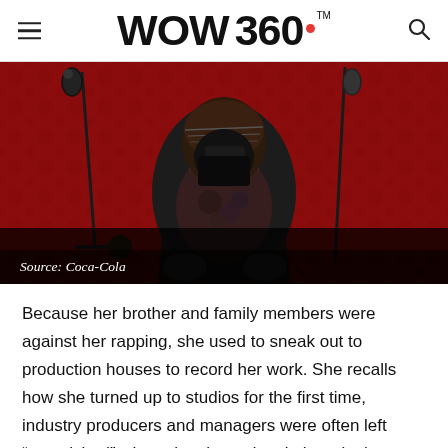WOW 360
[Figure (photo): A person wearing a black niqab/face mask, a floral patterned top with red roses, and a headwrap, sitting in a recording studio environment with microphone stands visible against a red patterned wall background. Caption reads: Source: Coca-Cola]
Source: Coca-Cola
Because her brother and family members were against her rapping, she used to sneak out to production houses to record her work. She recalls how she turned up to studios for the first time, industry producers and managers were often left “astonished” when she showed up in her niqab. “They reac... like ‘who is this?’” she said. “But then something wonder...